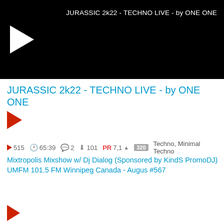[Figure (screenshot): Black video thumbnail with play button and title overlay: JURASSIC 2k22 - TECHNO LIVE - by ONE ONE]
JURASSIC 2k22 - TECHNO LIVE - by ONE ONE
[Figure (other): Red play button for first track]
515  65:39  2  101  PR 7,1 ▲  320  Techno, Minimal Techno
Mixtropolis Mixshow w/ Dj Dialog (Sponsored by KindS PromoDJ) UMFM 101.5 FM Winnipeg Canada - Augus #567
[Figure (other): Red play button for second track]